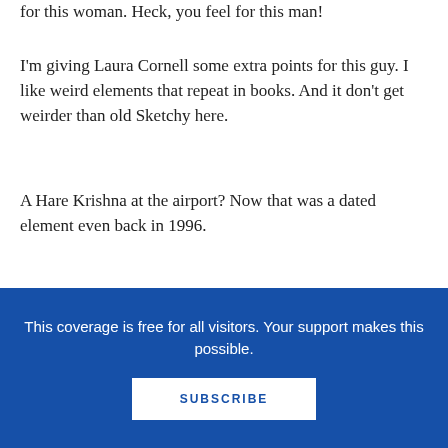for this woman. Heck, you feel for this man!
I'm giving Laura Cornell some extra points for this guy. I like weird elements that repeat in books. And it don't get weirder than old Sketchy here.
A Hare Krishna at the airport? Now that was a dated element even back in 1996.
This coverage is free for all visitors. Your support makes this possible.
SUBSCRIBE